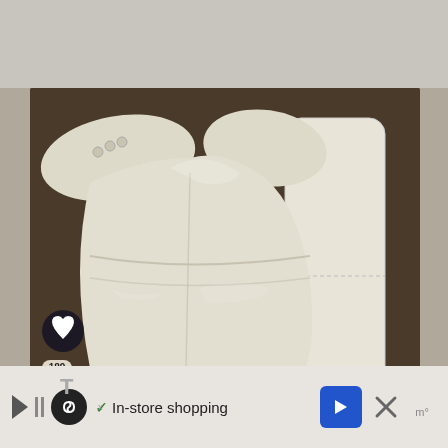[Figure (photo): A white cloth diaper (pocket diaper) laid flat on a dark brown sofa, shown open with wings spread out, next to a rectangular white cloth insert. Social sharing icons and a heart icon appear on the left side of the image. A 'What's Next' promo box in teal shows 'Buttons Cloth Diaper Review'. Watermark reads www.theantijunecleaver.com.]
WHAT'S NEXT → Buttons Cloth Diaper Review
✓  In-store shopping